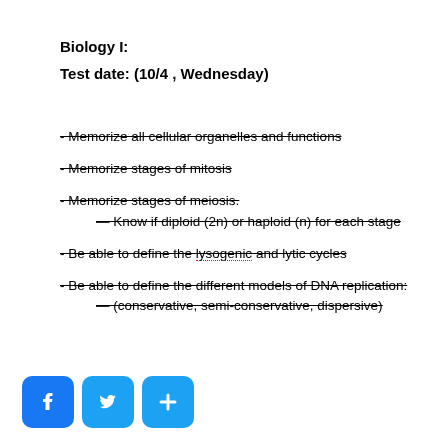Biology I:
Test date: (10/4 , Wednesday)
- Memorize all cellular organelles and functions
- Memorize stages of mitosis
- Memorize stages of meiosis.
  — Know if diploid (2n) or haploid (n) for each stage
- Be able to define the lysogenic and lytic cycles
- Be able to define the different models of DNA replication:
  — (conservative, semi-conservative, dispersive)
[Figure (logo): Social sharing buttons: Facebook, Twitter, and a share/plus button]